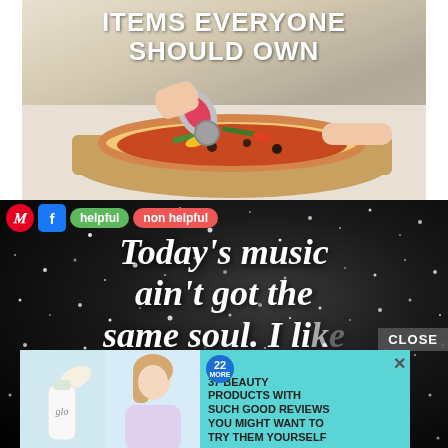[Figure (photo): Top banner image showing text 'ITEMS EVERYONE SHOULD OWN' over a photo of hands using a red pizza cutter on a pizza on a wooden cutting board]
[Figure (infographic): Dark sparkly background meme image with text 'Today's music ain't got the same soul. I lik-' with social sharing buttons (Pinterest, Facebook), 'helpful' and 'non helpful' buttons, a CLOSE button, and an advertisement overlay for '37 BEAUTY PRODUCTS WITH SUCH GOOD REVIEWS YOU MIGHT WANT TO TRY THEM YOURSELF']